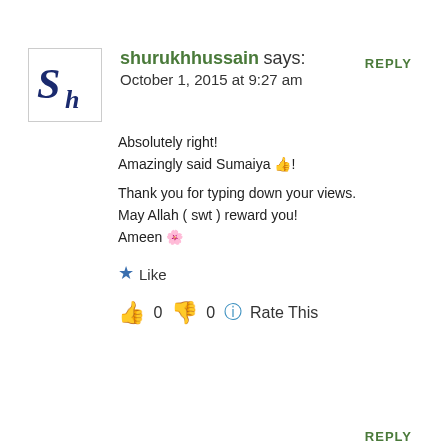REPLY
shurukhhussain says:
October 1, 2015 at 9:27 am
Absolutely right!
Amazingly said Sumaiya 👍!

Thank you for typing down your views.
May Allah ( swt ) reward you!
Ameen 🌸
★ Like
👍 0 👎 0 ℹ Rate This
REPLY